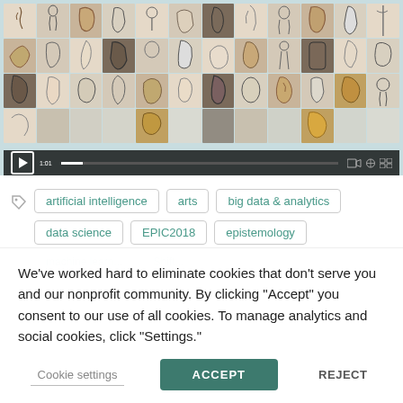[Figure (screenshot): A video player showing a mosaic grid of figure drawing sketches (charcoal/pencil drawings of human figures), with a dark playback control bar at the bottom showing a play button, timestamp '1:01', progress bar, and playback control icons.]
artificial intelligence
arts
big data & analytics
data science
EPIC2018
epistemology
We've worked hard to eliminate cookies that don't serve you and our nonprofit community. By clicking "Accept" you consent to our use of all cookies. To manage analytics and social cookies, click "Settings."